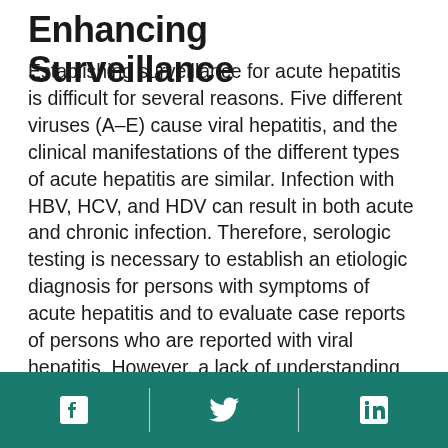Enhancing Surveillance
Establishing surveillance for acute hepatitis is difficult for several reasons. Five different viruses (A–E) cause viral hepatitis, and the clinical manifestations of the different types of acute hepatitis are similar. Infection with HBV, HCV, and HDV can result in both acute and chronic infection. Therefore, serologic testing is necessary to establish an etiologic diagnosis for persons with symptoms of acute hepatitis and to evaluate case reports of persons who are reported with viral hepatitis. However, a lack of understanding about the epidemiology of these diseases and underutilization of serologic testing could result in significant misclassification in reporting of acute viral hepatitis.
Social media icons: Facebook, Twitter, LinkedIn